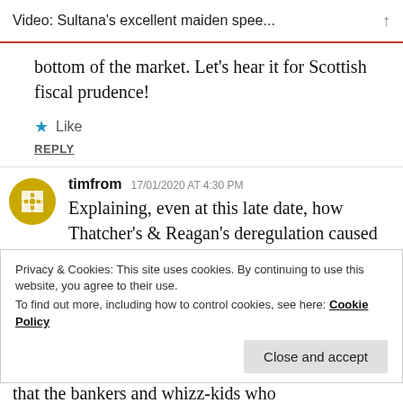Video: Sultana's excellent maiden spee... ↑
bottom of the market. Let's hear it for Scottish fiscal prudence!
★ Like
REPLY
timfrom   17/01/2020 AT 4:30 PM
Explaining, even at this late date, how Thatcher's & Reagan's deregulation caused –
Privacy & Cookies: This site uses cookies. By continuing to use this website, you agree to their use.
To find out more, including how to control cookies, see here: Cookie Policy
Close and accept
that the bankers and whizz-kids who